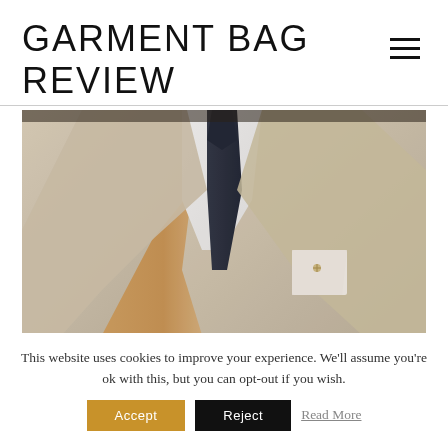GARMENT BAG REVIEW
[Figure (photo): Close-up photo of a man wearing a beige/tan suit jacket with a white dress shirt, dark navy tie, and a white pocket square with a small pin/brooch detail. The background is blurred and warm-toned.]
This website uses cookies to improve your experience. We'll assume you're ok with this, but you can opt-out if you wish.
Accept   Reject   Read More